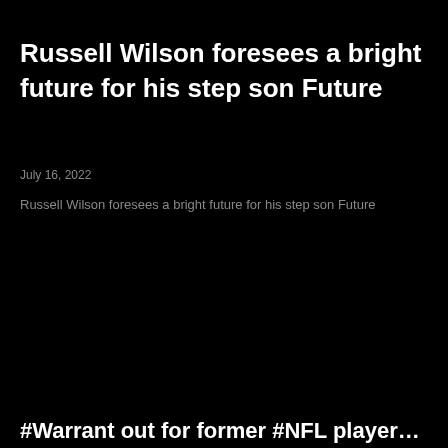Russell Wilson foresees a bright future for his step son Future
July 16, 2022
Russell Wilson foresees a bright future for his step son Future
#Warrant out for former #NFL player...